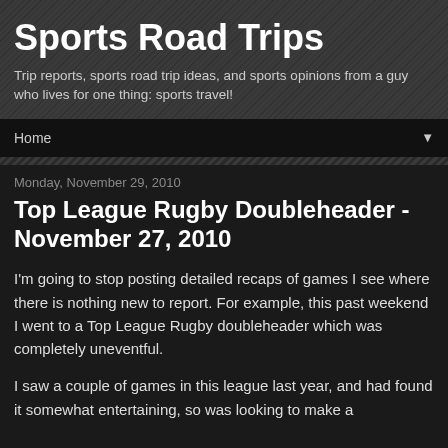Sports Road Trips
Trip reports, sports road trip ideas, and sports opinions from a guy who lives for one thing: sports travel!
Home ▼
Monday, November 29, 2010
Top League Rugby Doubleheader - November 27, 2010
I'm going to stop posting detailed recaps of games I see where there is nothing new to report. For example, this past weekend I went to a Top League Rugby doubleheader which was completely uneventful.
I saw a couple of games in this league last year, and had found it somewhat entertaining, so was looking to make a